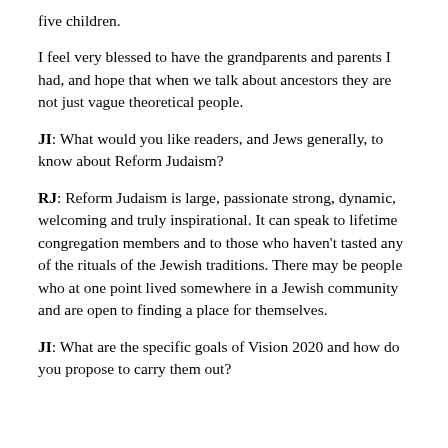five children.
I feel very blessed to have the grandparents and parents I had, and hope that when we talk about ancestors they are not just vague theoretical people.
JI: What would you like readers, and Jews generally, to know about Reform Judaism?
RJ: Reform Judaism is large, passionate strong, dynamic, welcoming and truly inspirational. It can speak to lifetime congregation members and to those who haven't tasted any of the rituals of the Jewish traditions. There may be people who at one point lived somewhere in a Jewish community and are open to finding a place for themselves.
JI: What are the specific goals of Vision 2020 and how do you propose to carry them out?